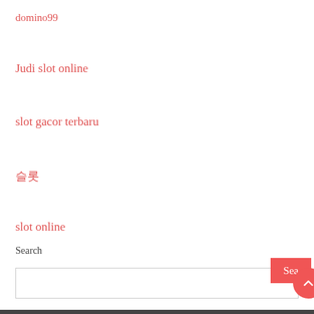domino99
Judi slot online
slot gacor terbaru
슬롯
slot online
Search